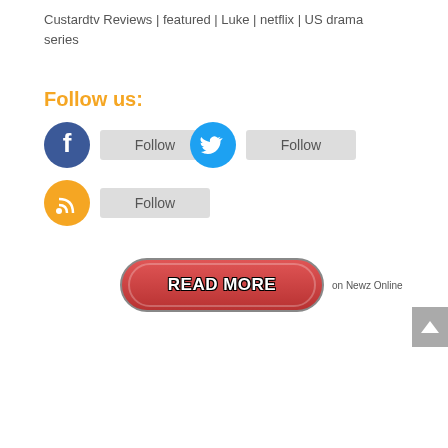Custardtv Reviews | featured | Luke | netflix | US drama series
Follow us:
[Figure (infographic): Social media follow buttons: Facebook circle icon with grey Follow button, Twitter circle icon with grey Follow button, RSS circle icon with grey Follow button]
[Figure (infographic): Red rounded READ MORE button with text 'READ MORE' in bold white with black outline, followed by small text 'on Newz Online']
[Figure (other): Grey back-to-top button with upward arrow chevron on the right edge]